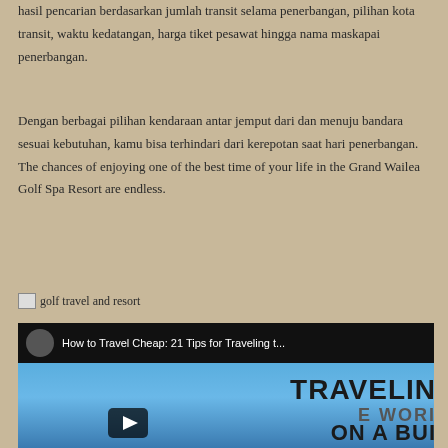hasil pencarian berdasarkan jumlah transit selama penerbangan, pilihan kota transit, waktu kedatangan, harga tiket pesawat hingga nama maskapai penerbangan.
Dengan berbagai pilihan kendaraan antar jemput dari dan menuju bandara sesuai kebutuhan, kamu bisa terhindari dari kerepotan saat hari penerbangan. The chances of enjoying one of the best time of your life in the Grand Wailea Golf Spa Resort are endless.
[Figure (photo): Broken image placeholder with alt text 'golf travel and resort']
[Figure (screenshot): YouTube video embed: 'How to Travel Cheap: 21 Tips for Traveling t...' showing a woman from behind on a blue sky background with text TRAVELING, E WORLD, ON A BUD partially visible and a play button]